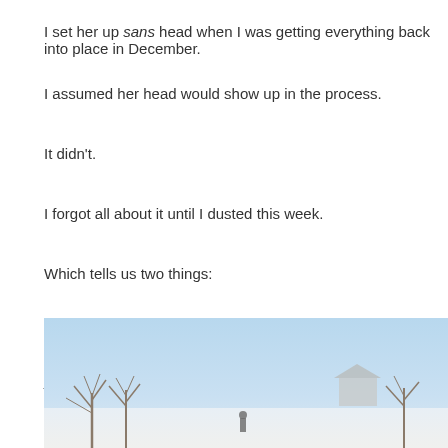I set her up sans head when I was getting everything back into place in December.
I assumed her head would show up in the process.
It didn't.
I forgot all about it until I dusted this week.
Which tells us two things:
I'm fairly oblivious to my familiar surroundings.
And I don't dust very often.
Next up:
[Figure (photo): A winter outdoor scene with bare trees and snow-covered ground under a pale blue sky, with a small building or barn visible in the background.]